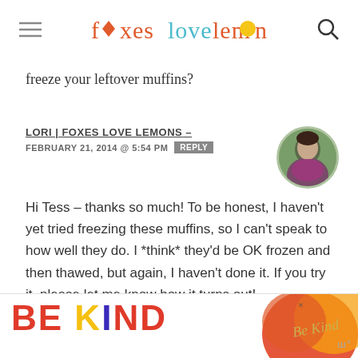foxes love lemons
freeze your leftover muffins?
LORI | FOXES LOVE LEMONS – FEBRUARY 21, 2014 @ 5:54 PM REPLY
Hi Tess – thanks so much! To be honest, I haven't yet tried freezing these muffins, so I can't speak to how well they do. I *think* they'd be OK frozen and then thawed, but again, I haven't done it. If you try it, please let me know how it turns out!
[Figure (other): BE KIND advertisement banner at the bottom of the page]